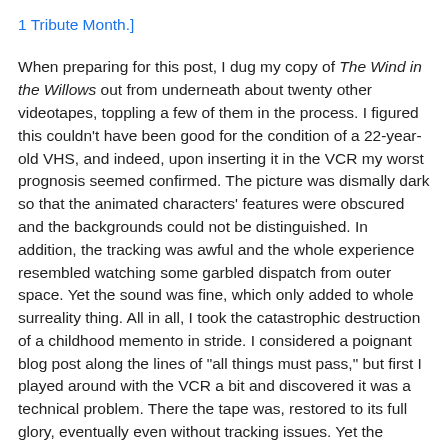1 Tribute Month.]
When preparing for this post, I dug my copy of The Wind in the Willows out from underneath about twenty other videotapes, toppling a few of them in the process. I figured this couldn't have been good for the condition of a 22-year-old VHS, and indeed, upon inserting it in the VCR my worst prognosis seemed confirmed. The picture was dismally dark so that the animated characters' features were obscured and the backgrounds could not be distinguished. In addition, the tracking was awful and the whole experience resembled watching some garbled dispatch from outer space. Yet the sound was fine, which only added to whole surreality thing. All in all, I took the catastrophic destruction of a childhood memento in stride. I considered a poignant blog post along the lines of "all things must pass," but first I played around with the VCR a bit and discovered it was a technical problem. There the tape was, restored to its full glory, eventually even without tracking issues. Yet the distanced, warping effect of the first images lingered in my mind and colored how I saw the rest of the movie.